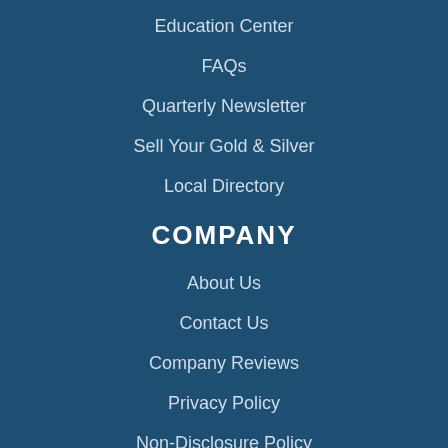Education Center
FAQs
Quarterly Newsletter
Sell Your Gold & Silver
Local Directory
COMPANY
About Us
Contact Us
Company Reviews
Privacy Policy
Non-Disclosure Policy
Delivery & Returns
Accessibility